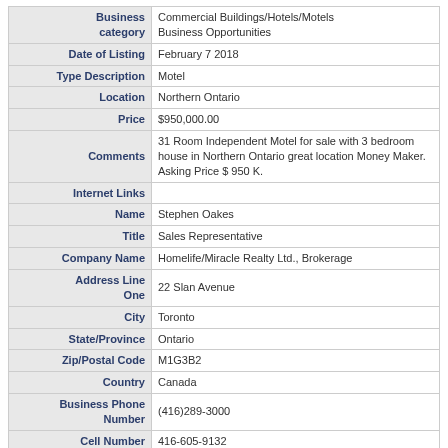| Field | Value |
| --- | --- |
| Business category | Commercial Buildings/Hotels/Motels
Business Opportunities |
| Date of Listing | February 7 2018 |
| Type Description | Motel |
| Location | Northern Ontario |
| Price | $950,000.00 |
| Comments | 31 Room Independent Motel for sale with 3 bedroom house in Northern Ontario great location Money Maker. Asking Price $ 950 K. |
| Internet Links |  |
| Name | Stephen Oakes |
| Title | Sales Representative |
| Company Name | Homelife/Miracle Realty Ltd., Brokerage |
| Address Line One | 22 Slan Avenue |
| City | Toronto |
| State/Province | Ontario |
| Zip/Postal Code | M1G3B2 |
| Country | Canada |
| Business Phone Number | (416)289-3000 |
| Cell Number | 416-605-9132 |
| Home Number | 416-605-9132 |
| Email Address | Send Email |
| Home Page | Home Page |